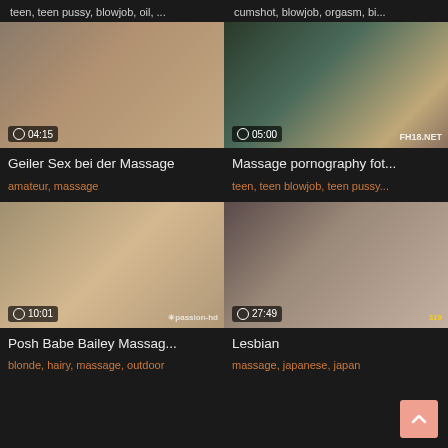teen, teen pussy, blowjob, oil, ...
cumshot, blowjob, orgasm, bi...
[Figure (photo): Video thumbnail - duration 04:15]
[Figure (photo): Video thumbnail - duration 05:00, watermark FH18.NET]
Geiler Sex bei der Massage
Massage pornography fot...
amateur, massage
teen, teen blowjob, teen pussy...
[Figure (photo): Video thumbnail - duration 10:01, watermark passion-hd]
[Figure (photo): Video thumbnail - duration 27:49]
Posh Babe Bailey Massag...
Lesbian
blonde, hairy, massage, outdoor
massage, japanese, japan